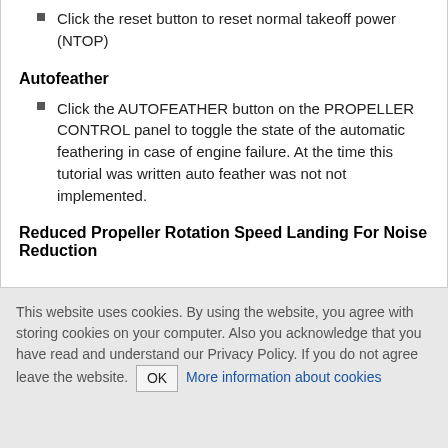Click the reset button to reset normal takeoff power (NTOP)
Autofeather
Click the AUTOFEATHER button on the PROPELLER CONTROL panel to toggle the state of the automatic feathering in case of engine failure. At the time this tutorial was written auto feather was not not implemented.
Reduced Propeller Rotation Speed Landing For Noise Reduction
This website uses cookies. By using the website, you agree with storing cookies on your computer. Also you acknowledge that you have read and understand our Privacy Policy. If you do not agree leave the website. OK More information about cookies